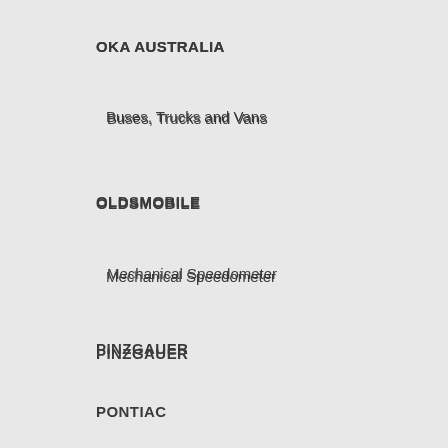OKA AUSTRALIA
Buses, Trucks and Vans
OLDSMOBILE
Mechanical Speedometer
PINZGAUER
PONTIAC
Mechanical Speedometer
Firebird/Trans Am